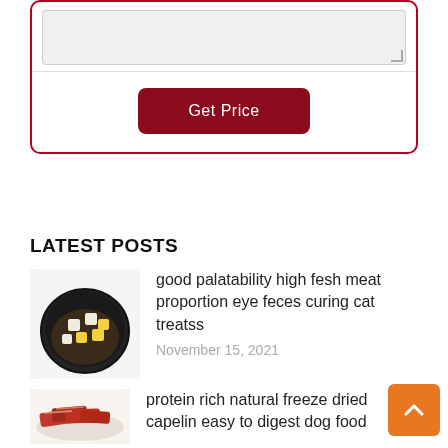[Figure (screenshot): A form section with a textarea input (grayed out, resizable) inside a red-bordered card]
Get Price
LATEST POSTS
[Figure (photo): Photo of a bowl of dark pet food (kibble) topped with white and yellow cubed pieces, on white background]
good palatability high fesh meat proportion eye feces curing cat treatss
November 15, 2021
[Figure (photo): Photo of sliced red meat/jerky on a plate]
protein rich natural freeze dried capelin easy to digest dog food